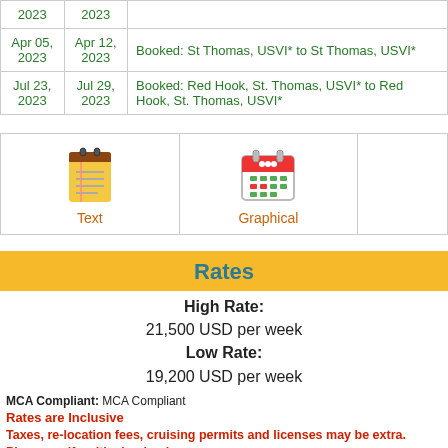| Start | End | Status |
| --- | --- | --- |
| 2023 | 2023 |  |
| Apr 05, 2023 | Apr 12, 2023 | Booked: St Thomas, USVI* to St Thomas, USVI* |
| Jul 23, 2023 | Jul 29, 2023 | Booked: Red Hook, St. Thomas, USVI* to Red Hook, St. Thomas, USVI* |
[Figure (infographic): Two calendar view options: Text (notepad icon) and Graphical (calendar icon)]
Rates
High Rate: 21,500 USD per week
Low Rate: 19,200 USD per week
MCA Compliant: MCA Compliant
Rates are Inclusive
Taxes, re-location fees, cruising permits and licenses may be extra. Please verify with clearing house.
Cruising Permit: Paid by Client  Licenses: Paid by Client